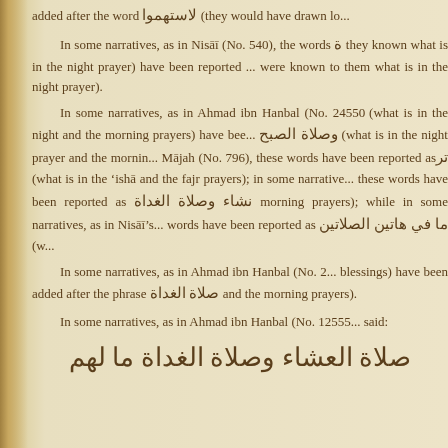added after the word لاستهموا (they would have drawn lo...
In some narratives, as in Nisāī (No. 540), the words ... they known what is in the night prayer) have been reported ... were known to them what is in the night prayer).
In some narratives, as in Ahmad ibn Hanbal (No. 2455... (what is in the night and the morning prayers) have bee... وصلاة الصبح (what is in the night prayer and the mornin... Mājah (No. 796), these words have been reported as تر... (what is in the 'ishā and the fajr prayers); in some narrative... these words have been reported as نشاء وصلاة الغداة ... morning prayers); while in some narratives, as in Nisāī's... words have been reported as ما في هاتين الصلاتين (w...
In some narratives, as in Ahmad ibn Hanbal (No. 2... blessings) have been added after the phrase صلاة الغداة ... and the morning prayers).
In some narratives, as in Ahmad ibn Hanbal (No. 12555... said:
صلاة العشاء وصلاة الغداة ما لهم